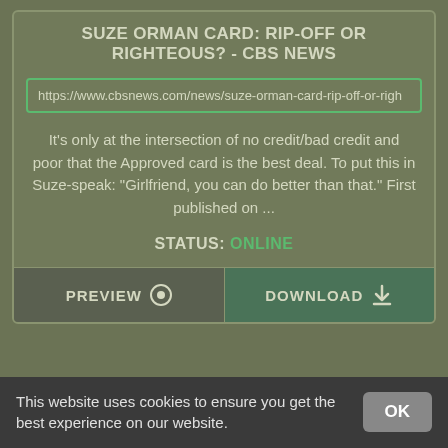SUZE ORMAN CARD: RIP-OFF OR RIGHTEOUS? - CBS NEWS
https://www.cbsnews.com/news/suze-orman-card-rip-off-or-righ
It's only at the intersection of no credit/bad credit and poor that the Approved card is the best deal. To put this in Suze-speak: "Girlfriend, you can do better than that." First published on ...
STATUS: ONLINE
PREVIEW
DOWNLOAD
CONSUMER SCAMS: 9 NEW RIP-OFFS ON THE RISE - CBS NEWS
This website uses cookies to ensure you get the best experience on our website.
OK